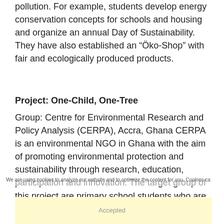pollution. For example, students develop energy conservation concepts for schools and housing and organize an annual Day of Sustainability. They have also established an “Öko-Shop” with fair and ecologically produced products.
Project: One-Child, One-Tree
Group: Centre for Environmental Research and Policy Analysis (CERPA), Accra, Ghana CERPA is an environmental NGO in Ghana with the aim of promoting environmental protection and sustainability through research, education, participation and innovation. The target group of this project are primary school students who are given an understanding of the environment through awareness campaigns and tree planting activities. In order to operate on a large and extended scale, the organization cooperates with village communities and local